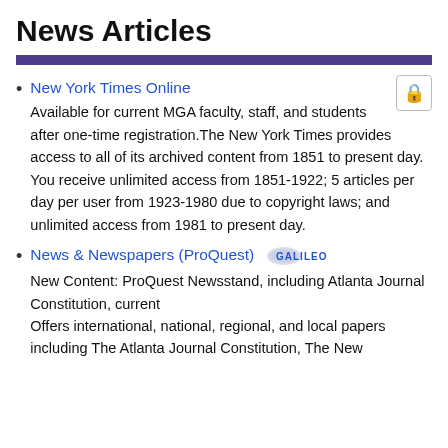News Articles
New York Times Online — Available for current MGA faculty, staff, and students after one-time registration.The New York Times provides access to all of its archived content from 1851 to present day. You receive unlimited access from 1851-1922; 5 articles per day per user from 1923-1980 due to copyright laws; and unlimited access from 1981 to present day.
News & Newspapers (ProQuest) — New Content: ProQuest Newsstand, including Atlanta Journal Constitution, current
Offers international, national, regional, and local papers including The Atlanta Journal Constitution, The New